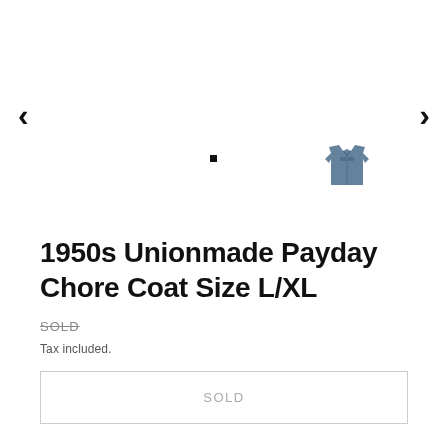[Figure (photo): Product image area with left and right navigation arrows, a small square dot indicator, and a small thumbnail image of a denim chore coat on the right side]
1950s Unionmade Payday Chore Coat Size L/XL
SOLD
Tax included.
SOLD